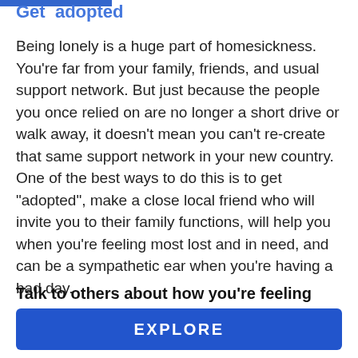Get adopted
Being lonely is a huge part of homesickness. You're far from your family, friends, and usual support network. But just because the people you once relied on are no longer a short drive or walk away, it doesn't mean you can't re-create that same support network in your new country. One of the best ways to do this is to get "adopted", make a close local friend who will invite you to their family functions, will help you when you're feeling most lost and in need, and can be a sympathetic ear when you're having a bad day.
Talk to others about how you're feeling
Ready to Go Overseas?
EXPLORE